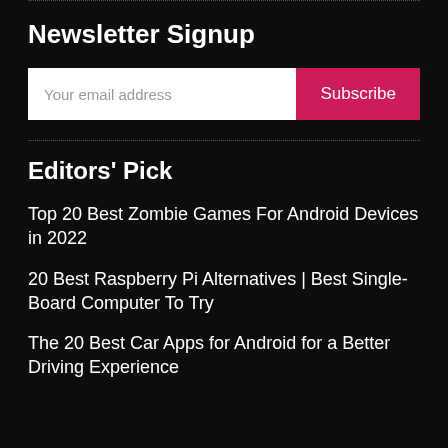Newsletter Signup
Your email address | Subscribe
Editors' Pick
Top 20 Best Zombie Games For Android Devices in 2022
20 Best Raspberry Pi Alternatives | Best Single-Board Computer To Try
The 20 Best Car Apps for Android for a Better Driving Experience